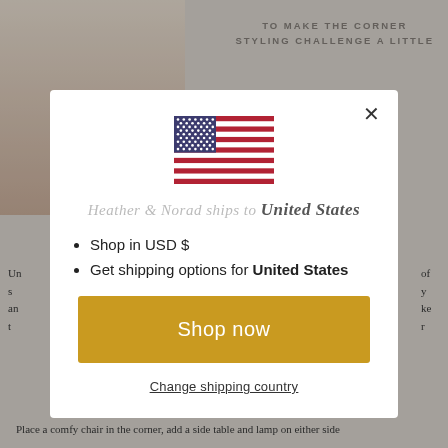[Figure (screenshot): Background webpage showing a home decor article. Left side shows a partial photo of a side table with decorative items. Top right shows partially visible article text 'TO MAKE THE CORNER STYLING CHALLENGE A LITTLE'. Bottom shows partial text 'Place a comfy chair in the corner, add a side table and lamp on either side'.]
[Figure (screenshot): Modal popup dialog on a website. Contains a US flag icon, handwritten-style text 'Heather & Norad ships to United States', bullet points listing shop currency and shipping options, a gold 'Shop now' button, and an underlined 'Change shipping country' link. Has an X close button in top right.]
Shop in USD $
Get shipping options for United States
Shop now
Change shipping country